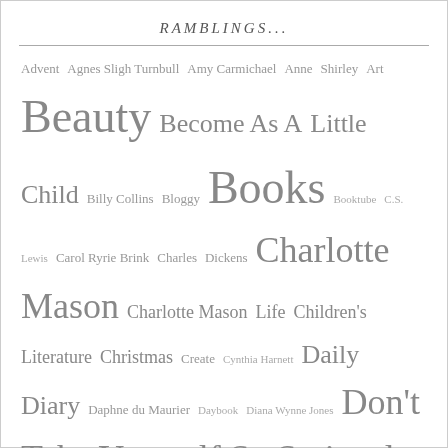RAMBLINGS...
Advent Agnes Sligh Turnbull Amy Carmichael Anne Shirley Art Beauty Become As A Little Child Billy Collins Bloggy Books Booktube C.S. Lewis Carol Ryrie Brink Charles Dickens Charlotte Mason Charlotte Mason Life Children's Literature Christmas Create Cynthia Harnett Daily Diary Daphne du Maurier Daybook Diana Wynne Jones Don't Take Yourself So Seriously Easter Elizabeth Goudge Elizabeth von Arnim Elizabeth Yates Emily Dickinson England Fairy Tale & Fantasy Faith Family Favorite Authors